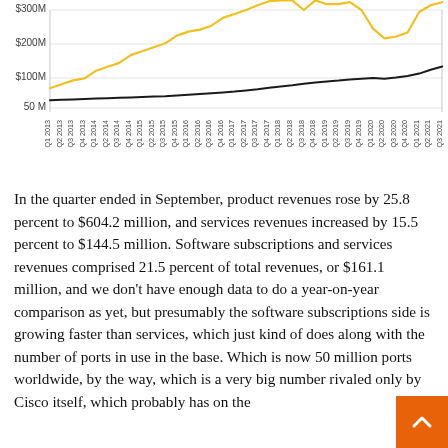[Figure (line-chart): Quarterly Revenue Chart]
In the quarter ended in September, product revenues rose by 25.8 percent to $604.2 million, and services revenues increased by 15.5 percent to $144.5 million. Software subscriptions and services revenues comprised 21.5 percent of total revenues, or $161.1 million, and we don't have enough data to do a year-on-year comparison as yet, but presumably the software subscriptions side is growing faster than services, which just kind of does along with the number of ports in use in the base. Which is now 50 million ports worldwide, by the way, which is a very big number rivaled only by Cisco itself, which probably has on the